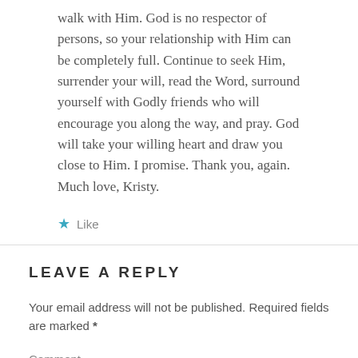walk with Him. God is no respector of persons, so your relationship with Him can be completely full. Continue to seek Him, surrender your will, read the Word, surround yourself with Godly friends who will encourage you along the way, and pray. God will take your willing heart and draw you close to Him. I promise. Thank you, again. Much love, Kristy.
★ Like
LEAVE A REPLY
Your email address will not be published. Required fields are marked *
Comment